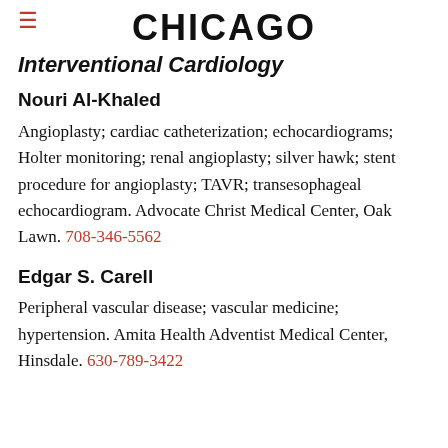CHICAGO
Interventional Cardiology
Nouri Al-Khaled
Angioplasty; cardiac catheterization; echocardiograms; Holter monitoring; renal angioplasty; silver hawk; stent procedure for angioplasty; TAVR; transesophageal echocardiogram. Advocate Christ Medical Center, Oak Lawn. 708-346-5562
Edgar S. Carell
Peripheral vascular disease; vascular medicine; hypertension. Amita Health Adventist Medical Center, Hinsdale. 630-789-3422